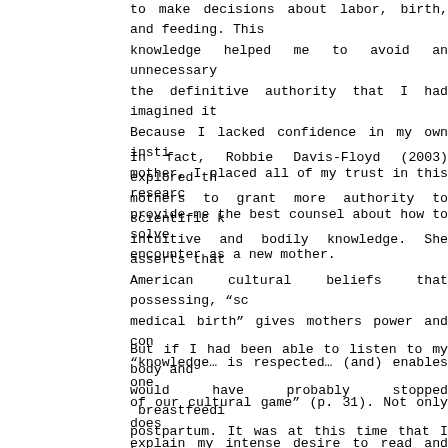to make decisions about labor, birth, and feeding. This knowledge helped me to avoid an unnecessary... [and was not] the definitive authority that I had imagined it to be... Because I lacked confidence in my own instincts as a mother, I placed all of my trust in this research to provide me the best counsel about how to solve problems I encounter as a new mother.
In fact, Robbie Davis-Floyd (2003) explored the tendency of mothers to grant more authority to scientific knowledge over intuitive and bodily knowledge. She asserts that there are American cultural beliefs that possessing, "scientific and medical birth" gives mothers power and control because "knowledge... is respected... (and) enables one to play the game of our cultural game" (p. 31). Not only does this help explain my intense desire to read and research, but it also helps me understand my own distrust in my body...
But if I had been able to listen to my body and instincts, I would have probably stopped breastfeeding sooner postpartum. It was at this time that I knew my milk supply to increase. My daughter was already eating m...